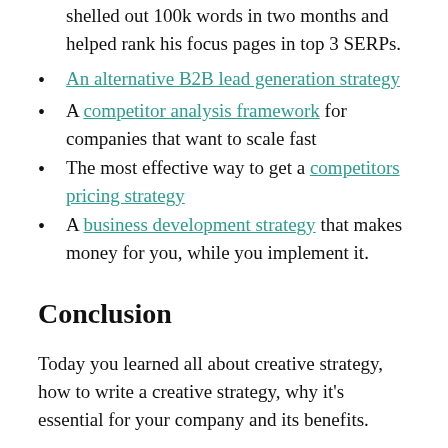shelled out 100k words in two months and helped rank his focus pages in top 3 SERPs.
An alternative B2B lead generation strategy
A competitor analysis framework for companies that want to scale fast
The most effective way to get a competitors pricing strategy
A business development strategy that makes money for you, while you implement it.
Conclusion
Today you learned all about creative strategy, how to write a creative strategy, why it's essential for your company and its benefits.